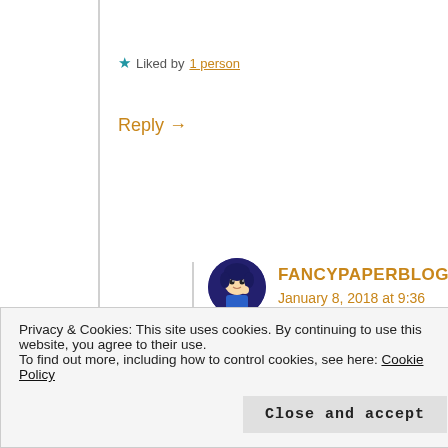★ Liked by 1 person
Reply →
[Figure (illustration): Circular avatar with dark blue background showing an anime-style girl character in blue clothing]
FANCYPAPERBLOG
January 8, 2018 at 9:36 pm
You too Gemma 🙂
★ Liked by 1 person
Privacy & Cookies: This site uses cookies. By continuing to use this website, you agree to their use.
To find out more, including how to control cookies, see here: Cookie Policy
Close and accept
January 1, 2018 at 7:21 am